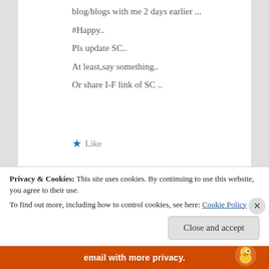blog/blogs with me 2 days earlier ...
#Happy..
Pls update SC..
At least,say something..
Or share I-F link of SC ..
★ Like
Reply
[Figure (illustration): User avatar icon - half-circle silhouette in grey-blue tones]
mirabell
Privacy & Cookies: This site uses cookies. By continuing to use this website, you agree to their use.
To find out more, including how to control cookies, see here: Cookie Policy
Close and accept
[Figure (infographic): Orange advertisement banner with text 'email with more privacy.' and DuckDuckGo duck logo]